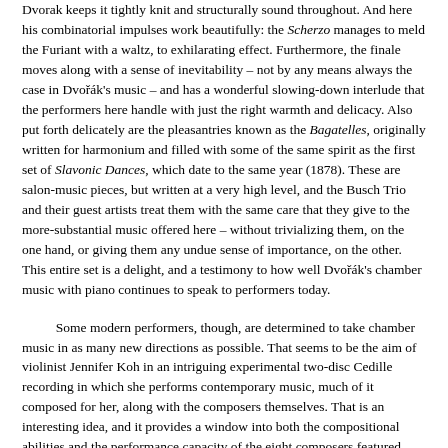Dvorak keeps it tightly knit and structurally sound throughout. And here his combinatorial impulses work beautifully: the Scherzo manages to meld the Furiant with a waltz, to exhilarating effect. Furthermore, the finale moves along with a sense of inevitability – not by any means always the case in Dvořák's music – and has a wonderful slowing-down interlude that the performers here handle with just the right warmth and delicacy. Also put forth delicately are the pleasantries known as the Bagatelles, originally written for harmonium and filled with some of the same spirit as the first set of Slavonic Dances, which date to the same year (1878). These are salon-music pieces, but written at a very high level, and the Busch Trio and their guest artists treat them with the same care that they give to the more-substantial music offered here – without trivializing them, on the one hand, or giving them any undue sense of importance, on the other. This entire set is a delight, and a testimony to how well Dvořák's chamber music with piano continues to speak to performers today.
Some modern performers, though, are determined to take chamber music in as many new directions as possible. That seems to be the aim of violinist Jennifer Koh in an intriguing experimental two-disc Cedille recording in which she performs contemporary music, much of it composed for her, along with the composers themselves. That is an interesting idea, and it provides a window into both the compositional abilities and the performance capacity of the eight composers featured here. But what ultimately matters is not the cleverness of the notion but